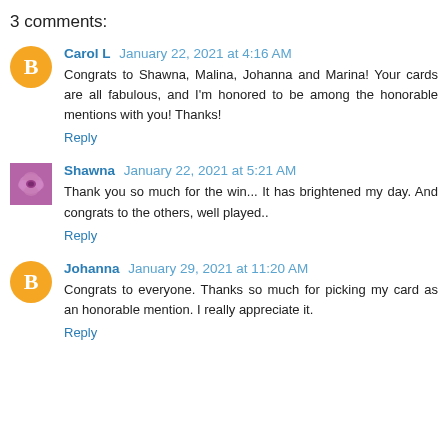3 comments:
Carol L January 22, 2021 at 4:16 AM
Congrats to Shawna, Malina, Johanna and Marina! Your cards are all fabulous, and I'm honored to be among the honorable mentions with you! Thanks!
Reply
Shawna January 22, 2021 at 5:21 AM
Thank you so much for the win... It has brightened my day. And congrats to the others, well played..
Reply
Johanna January 29, 2021 at 11:20 AM
Congrats to everyone. Thanks so much for picking my card as an honorable mention. I really appreciate it.
Reply